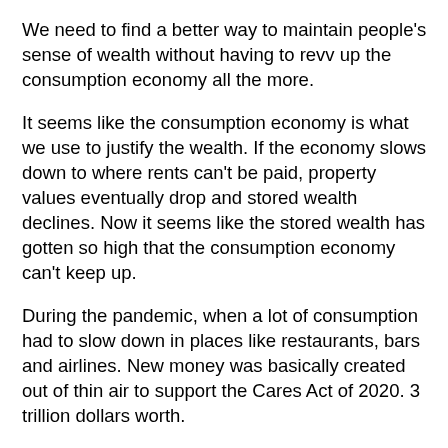We need to find a better way to maintain people's sense of wealth without having to revv up the consumption economy all the more.
It seems like the consumption economy is what we use to justify the wealth. If the economy slows down to where rents can't be paid, property values eventually drop and stored wealth declines. Now it seems like the stored wealth has gotten so high that the consumption economy can't keep up.
During the pandemic, when a lot of consumption had to slow down in places like restaurants, bars and airlines. New money was basically created out of thin air to support the Cares Act of 2020. 3 trillion dollars worth.
This helped to prop up incomes so rents could still be paid and businesses could still make their lease payments even while they had to close. It helped to keep wealth intact. Otherwise, unused business space and unpaid rent would probably have led to a collapse in property values; something owners fear. This ment that even lots of fiscally